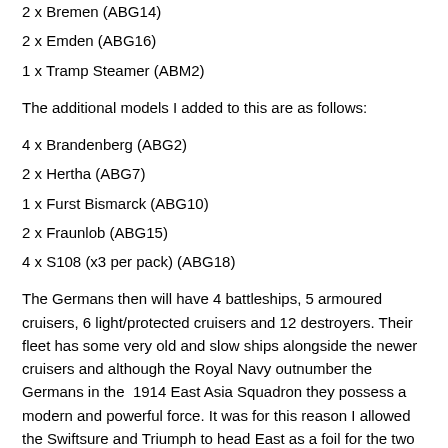2 x Bremen (ABG14)
2 x Emden (ABG16)
1 x Tramp Steamer (ABM2)
The additional models I added to this are as follows:
4 x Brandenberg (ABG2)
2 x Hertha (ABG7)
1 x Furst Bismarck (ABG10)
2 x Fraunlob (ABG15)
4 x S108 (x3 per pack) (ABG18)
The Germans then will have 4 battleships, 5 armoured cruisers, 6 light/protected cruisers and 12 destroyers. Their fleet has some very old and slow ships alongside the newer cruisers and although the Royal Navy outnumber the Germans in the  1914 East Asia Squadron they possess a modern and powerful force. It was for this reason I allowed the Swiftsure and Triumph to head East as a foil for the two German Scharnhorst class cruisers.
I may add some later armoured cruisers to the Royal Navy